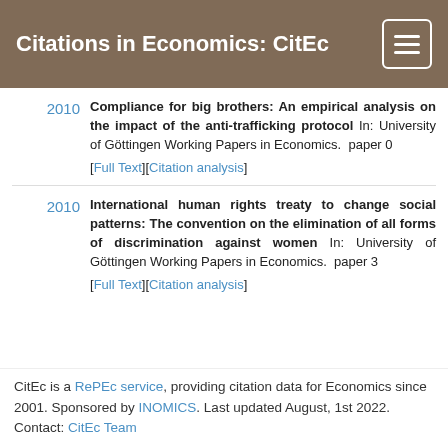Citations in Economics: CitEc
2010 — Compliance for big brothers: An empirical analysis on the impact of the anti-trafficking protocol In: University of Göttingen Working Papers in Economics. paper 0 [Full Text][Citation analysis]
2010 — International human rights treaty to change social patterns: The convention on the elimination of all forms of discrimination against women In: University of Göttingen Working Papers in Economics. paper 3 [Full Text][Citation analysis]
CitEc is a RePEc service, providing citation data for Economics since 2001. Sponsored by INOMICS. Last updated August, 1st 2022. Contact: CitEc Team